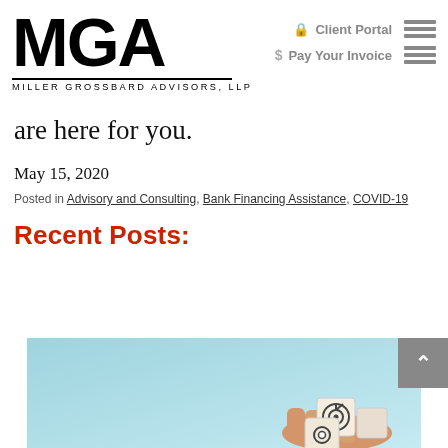MGA — MILLER GROSSBARD ADVISORS, LLP | Client Portal | Pay Your Invoice
are here for you.
May 15, 2020
Posted in Advisory and Consulting, Bank Financing Assistance, COVID-19
Recent Posts:
[Figure (photo): Photo of hands stacking wooden cubes with goal/gear icons on a blue background]